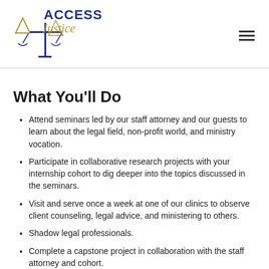[Figure (logo): Access Justice logo — scales of justice icon with blue and gold text reading ACCESS Justice]
What You'll Do
Attend seminars led by our staff attorney and our guests to learn about the legal field, non-profit world, and ministry vocation.
Participate in collaborative research projects with your internship cohort to dig deeper into the topics discussed in the seminars.
Visit and serve once a week at one of our clinics to observe client counseling, legal advice, and ministering to others.
Shadow legal professionals.
Complete a capstone project in collaboration with the staff attorney and cohort.